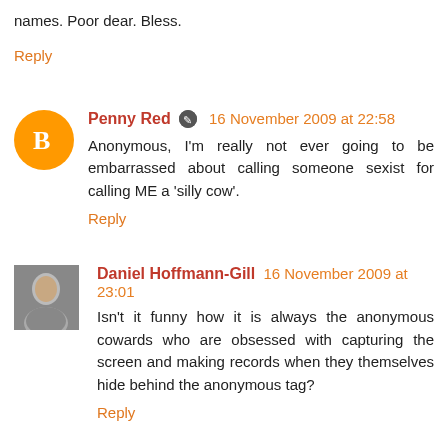names. Poor dear. Bless.
Reply
Penny Red 16 November 2009 at 22:58
Anonymous, I'm really not ever going to be embarrassed about calling someone sexist for calling ME a 'silly cow'.
Reply
Daniel Hoffmann-Gill 16 November 2009 at 23:01
Isn't it funny how it is always the anonymous cowards who are obsessed with capturing the screen and making records when they themselves hide behind the anonymous tag?
Reply
KB Player 16 November 2009 at 23:01
"Criticise my writing, my ideas, my politics."